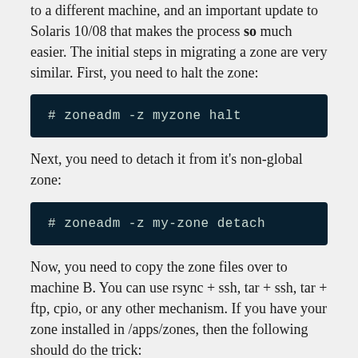to a different machine, and an important update to Solaris 10/08 that makes the process so much easier. The initial steps in migrating a zone are very similar. First, you need to halt the zone:
# zoneadm -z myzone halt
Next, you need to detach it from it's non-global zone:
# zoneadm -z my-zone detach
Now, you need to copy the zone files over to machine B. You can use rsync + ssh, tar + ssh, tar + ftp, cpio, or any other mechanism. If you have your zone installed in /apps/zones, then the following should do the trick: